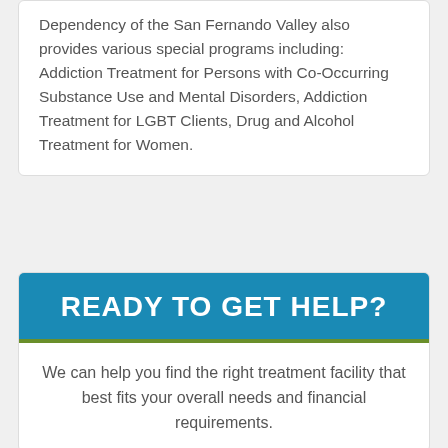Dependency of the San Fernando Valley also provides various special programs including: Addiction Treatment for Persons with Co-Occurring Substance Use and Mental Disorders, Addiction Treatment for LGBT Clients, Drug and Alcohol Treatment for Women.
READY TO GET HELP?
We can help you find the right treatment facility that best fits your overall needs and financial requirements.